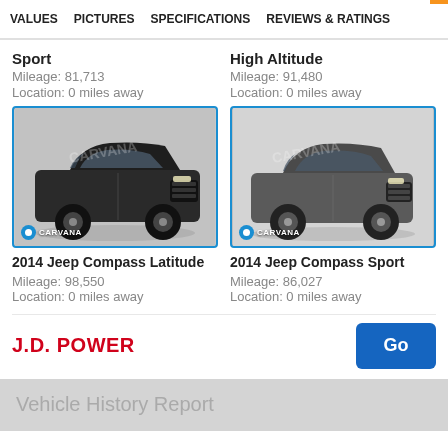VALUES   PICTURES   SPECIFICATIONS   REVIEWS & RATINGS
Sport
Mileage: 81,713
Location: 0 miles away
High Altitude
Mileage: 91,480
Location: 0 miles away
[Figure (photo): 2014 Jeep Compass Latitude black SUV photo with Carvana watermark and blue border]
2014 Jeep Compass Latitude
Mileage: 98,550
Location: 0 miles away
[Figure (photo): 2014 Jeep Compass Sport gray SUV photo with Carvana watermark and blue border]
2014 Jeep Compass Sport
Mileage: 86,027
Location: 0 miles away
J.D. POWER
Go
Vehicle History Report